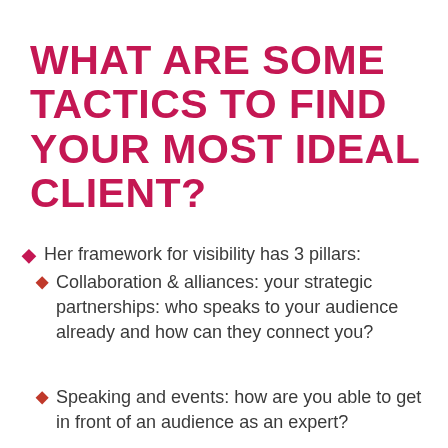WHAT ARE SOME TACTICS TO FIND YOUR MOST IDEAL CLIENT?
Her framework for visibility has 3 pillars:
Collaboration & alliances: your strategic partnerships: who speaks to your audience already and how can they connect you?
Speaking and events: how are you able to get in front of an audience as an expert?